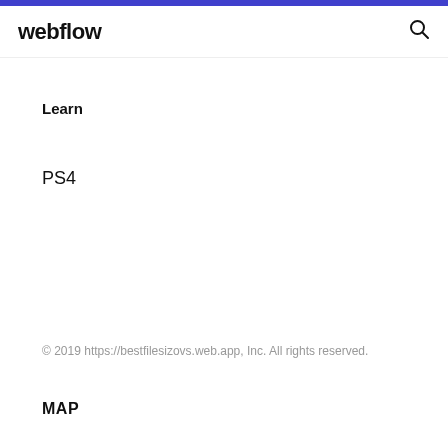webflow
Learn
PS4
© 2019 https://bestfilesizovs.web.app, Inc. All rights reserved.
MAP